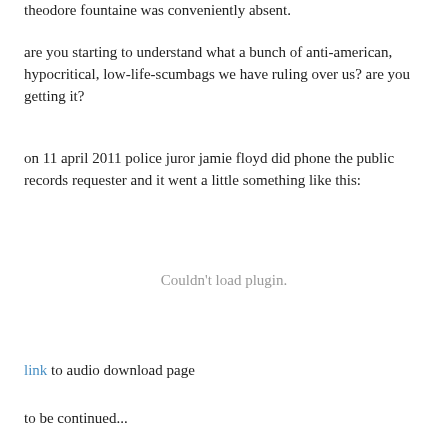theodore fountaine was conveniently absent.
are you starting to understand what a bunch of anti-american, hypocritical, low-life-scumbags we have ruling over us? are you getting it?
on 11 april 2011 police juror jamie floyd did phone the public records requester and it went a little something like this:
[Figure (other): Embedded audio plugin placeholder showing 'Couldn't load plugin.' message]
link to audio download page
to be continued...